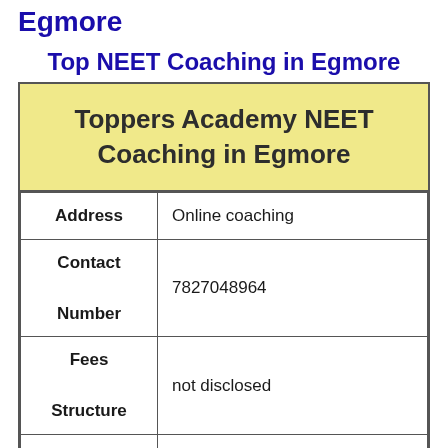Egmore
Top NEET Coaching in Egmore
|  |  |
| --- | --- |
| Toppers Academy NEET Coaching in Egmore |  |
| Address | Online coaching |
| Contact Number | 7827048964 |
| Fees Structure | not disclosed |
| Batch Size | 35 – 40 Students |